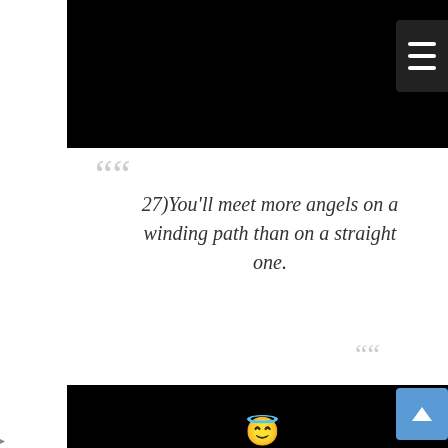[Figure (other): Black rectangle representing a screenshot or image placeholder at the top of the page, with a dark hamburger menu button on the right side]
““ 27)You’ll meet more angels on a winding path than on a straight one. ““
[Figure (other): Black rectangle representing a screenshot or image placeholder at the bottom of the page, with a scroll-to-top blue button on the right and an angel emoji visible at the bottom center]